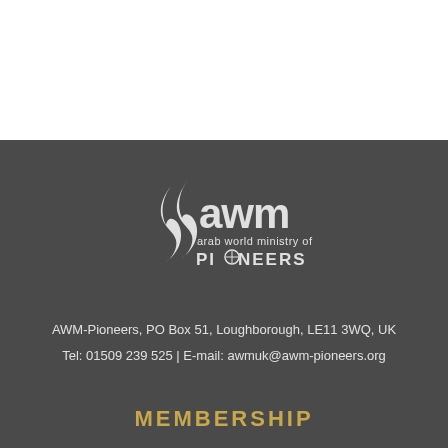[Figure (logo): AWM arab world ministry of PIONEERS logo in white on dark background]
AWM-Pioneers, PO Box 51, Loughborough, LE11 3WQ, UK
Tel: 01509 239 525 | E-mail: awmuk@awm-pioneers.org
MEMBERSHIP